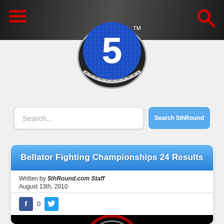5thRound.com - Navigation Header
[Figure (logo): 5thRound.com logo - a blue metallic circle with the number 5 and chain/horseshoe design]
Search...
Search 5thRound
Bellator Fighting Championships 24 Results
Written by 5thRound.com Staff
August 13th, 2010
[Figure (photo): Bellator Fighting Championships event image with red and white circular design on black background]